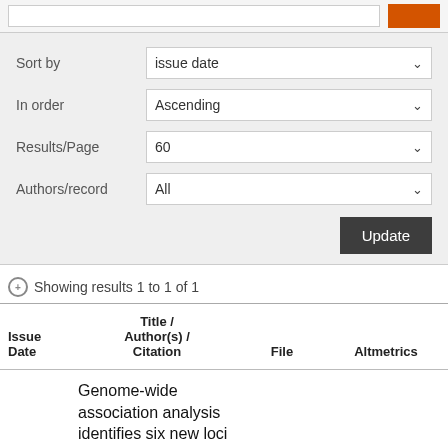[Figure (screenshot): Search/sort panel with dropdowns for Sort by (issue date), In order (Ascending), Results/Page (60), Authors/record (All), and an Update button]
Showing results 1 to 1 of 1
| Issue Date | Title / Author(s) / Citation | File | Altmetrics |
| --- | --- | --- | --- |
|  | Genome-wide association analysis identifies six new loci |  |  |